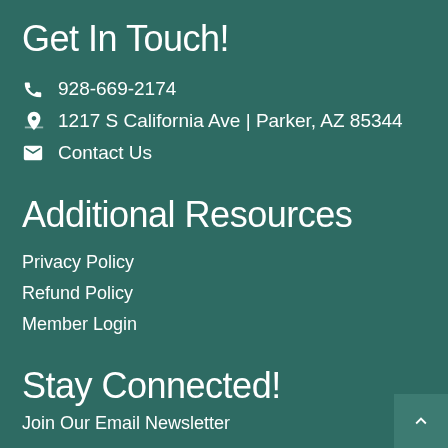Get In Touch!
928-669-2174
1217 S California Ave | Parker, AZ 85344
Contact Us
Additional Resources
Privacy Policy
Refund Policy
Member Login
Stay Connected!
Join Our Email Newsletter